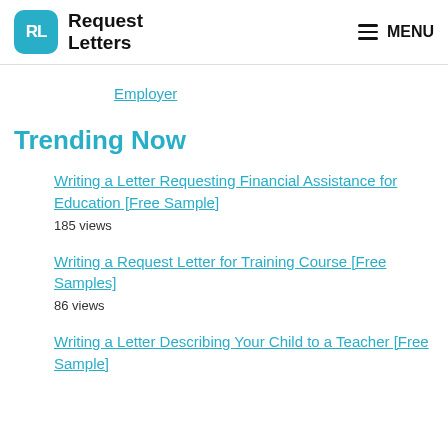RL Request Letters | MENU
Employer
Trending Now
Writing a Letter Requesting Financial Assistance for Education [Free Sample]
185 views
Writing a Request Letter for Training Course [Free Samples]
86 views
Writing a Letter Describing Your Child to a Teacher [Free Sample]